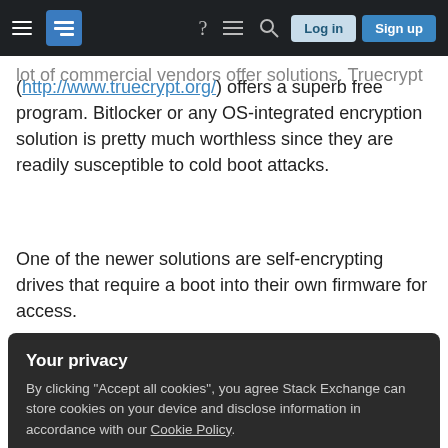Stack Exchange navigation bar with Log in and Sign up buttons
lot of commercial vendors offer solutions. Truecrypt (http://www.truecrypt.org/) offers a superb free program. Bitlocker or any OS-integrated encryption solution is pretty much worthless since they are readily susceptible to cold boot attacks.
One of the newer solutions are self-encrypting drives that require a boot into their own firmware for access.
Share
Improve this answer
edited Jul 14, 2015 at 14:53
SilverlightFox
Your privacy
By clicking "Accept all cookies", you agree Stack Exchange can store cookies on your device and disclose information in accordance with our Cookie Policy.
Accept all cookies  Customize settings
personal computer the DRAM will maintain its